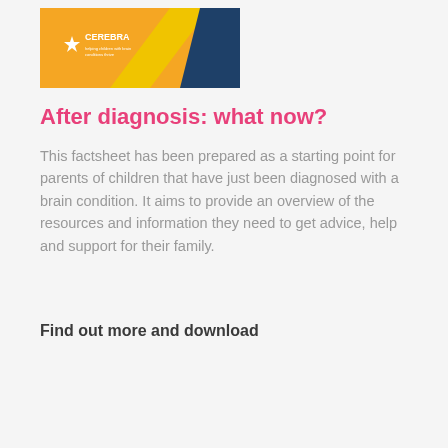[Figure (illustration): Cerebra branded document cover image with orange, yellow, and navy blue sections, featuring the Cerebra logo with a star in the top-left area.]
After diagnosis: what now?
This factsheet has been prepared as a starting point for parents of children that have just been diagnosed with a brain condition. It aims to provide an overview of the resources and information they need to get advice, help and support for their family.
Find out more and download